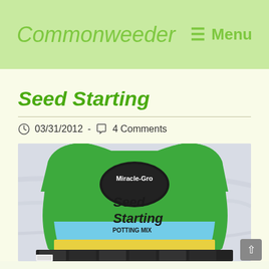Commonweeder   ≡ Menu
Seed Starting
03/31/2012  -  4 Comments
[Figure (photo): A bag of Miracle-Gro Seed Starting Potting Mix on a white cloth surface, with a black plastic seed starting tray visible at the bottom.]